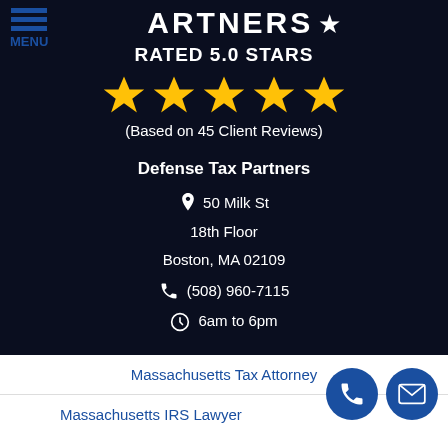[Figure (logo): Defense Tax Partners logo text partially visible at top: ARTNERS with a star icon, on dark navy background]
RATED 5.0 STARS
[Figure (illustration): Five gold/yellow star rating icons in a row]
(Based on 45 Client Reviews)
Defense Tax Partners
📍 50 Milk St
18th Floor
Boston, MA 02109
📞 (508) 960-7115
🕐 6am to 6pm
Massachusetts Tax Attorney
Massachusetts IRS Lawyer